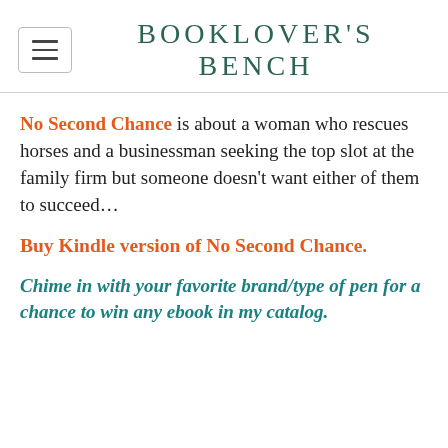BOOKLOVER'S BENCH
No Second Chance is about a woman who rescues horses and a businessman seeking the top slot at the family firm but someone doesn't want either of them to succeed…
Buy Kindle version of No Second Chance.
Chime in with your favorite brand/type of pen for a chance to win any ebook in my catalog.